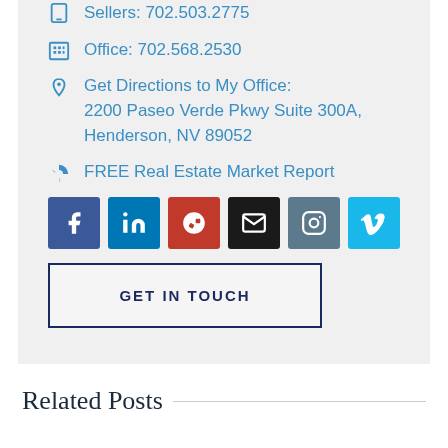Sellers: 702.503.2775
Office: 702.568.2530
Get Directions to My Office: 2200 Paseo Verde Pkwy Suite 300A, Henderson, NV 89052
FREE Real Estate Market Report
[Figure (other): Social media icon buttons: Facebook, LinkedIn, Yelp, Email, Instagram, Vimeo]
GET IN TOUCH
Related Posts